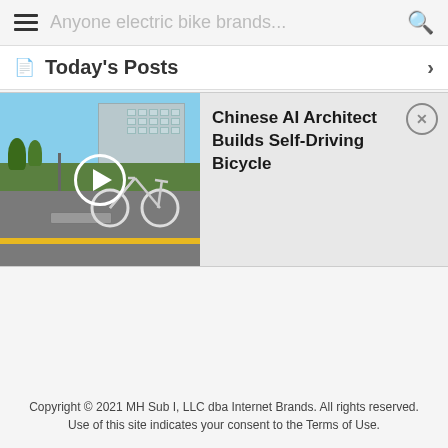Anyone electric bike brands...
Today's Posts
[Figure (screenshot): Video thumbnail showing a bicycle and cart on a road outside a building, with a circular play button overlay]
Chinese AI Architect Builds Self-Driving Bicycle
Copyright © 2021 MH Sub I, LLC dba Internet Brands. All rights reserved. Use of this site indicates your consent to the Terms of Use.